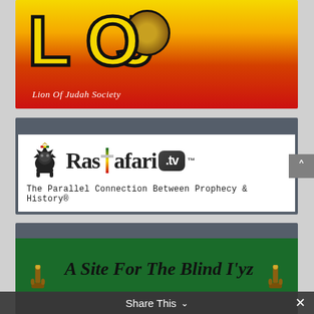[Figure (logo): Lion of Judah Society logo banner with large 'LOJ' letters in yellow/red gradient with black outline on a yellow-to-red gradient background, subtitle 'Lion Of Judah Society' in white italic text]
[Figure (logo): Rastafari.tv logo banner with lion icon, stylized 'Rastafari' text with cross replacing letter 't', '.tv' in dark rounded badge with trademark symbol, tagline 'The Parallel Connection Between Prophecy & History®']
[Figure (logo): Third banner with dark header bar, green background showing text 'A Site For The Blind I'yz' in large italic serif font, crown/scepter icons on left and right, dark bottom bar partially visible]
Share This ∨